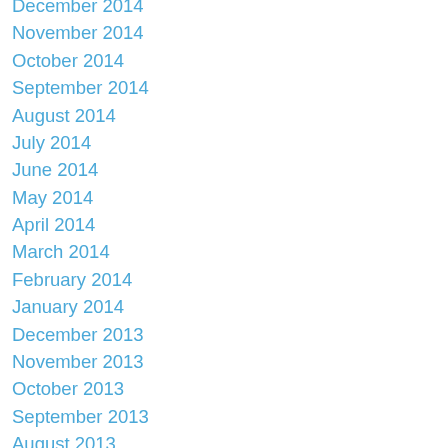December 2014
November 2014
October 2014
September 2014
August 2014
July 2014
June 2014
May 2014
April 2014
March 2014
February 2014
January 2014
December 2013
November 2013
October 2013
September 2013
August 2013
July 2013
June 2013
May 2013
April 2013